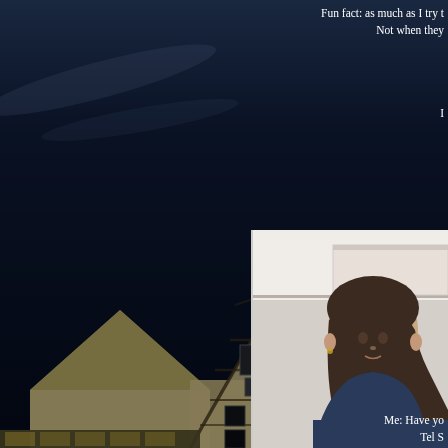[Figure (photo): Nighttime photo of a German town square with half-timbered buildings and rooftops against a dark blue sky with some clouds on the left side]
[Figure (photo): Portrait photo of a woman with dark hair in a light-colored indoor setting, overlaid on the right side of the page]
Fun fact: as much as I try t
Not when they
I
Me: Have yo
Tel S